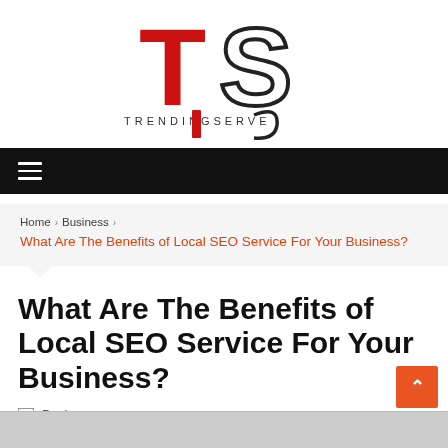[Figure (logo): TrendingServe logo with large TS letters and 'TRENDINGSERVE' text below]
Navigation bar with hamburger menu icon
Home > Business > What Are The Benefits of Local SEO Service For Your Business?
What Are The Benefits of Local SEO Service For Your Business?
Business